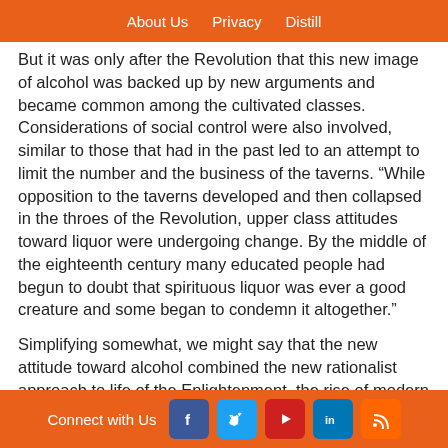About Us  Privacy  Distill
But it was only after the Revolution that this new image of alcohol was backed up by new arguments and became common among the cultivated classes. Considerations of social control were also involved, similar to those that had in the past led to an attempt to limit the number and the business of the taverns. “While opposition to the taverns developed and then collapsed in the throes of the Revolution, upper class attitudes toward liquor were undergoing change. By the middle of the eighteenth century many educated people had begun to doubt that spirituous liquor was ever a good creature and some began to condemn it altogether.”
Simplifying somewhat, we might say that the new attitude toward alcohol combined the new rationalist approach to life of the Enlightenment, the rise of modern industrial capitalism with its need for a careful, disciplined workforce, and the general advances in science, above all in medicine. In particular, the large diffusion of the practice of conducting scientific postmortems, a novelty of this period, revealed the great damage that could be caused by excessive
Connect with Us